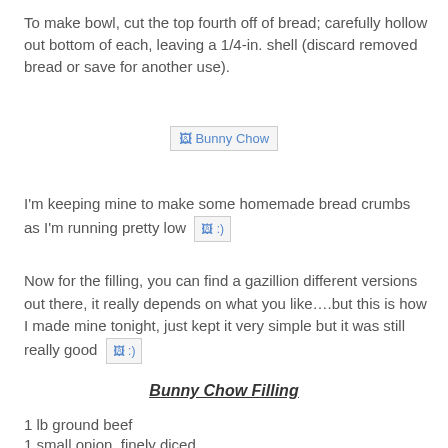To make bowl, cut the top fourth off of bread; carefully hollow out bottom of each, leaving a 1/4-in. shell (discard removed bread or save for another use).
[Figure (photo): Broken image placeholder labeled 'Bunny Chow']
I'm keeping mine to make some homemade bread crumbs as I'm running pretty low :)
Now for the filling, you can find a gazillion different versions out there, it really depends on what you like….but this is how I made mine tonight, just kept it very simple but it was still really good :)
Bunny Chow Filling
1 lb ground beef
1 small onion, finely diced